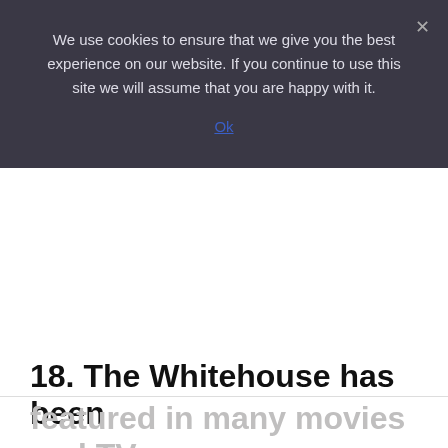We use cookies to ensure that we give you the best experience on our website. If you continue to use this site we will assume that you are happy with it.
Ok
[Figure (other): White blank area representing ad/content placeholder]
18. The Whitehouse has been featured in many movies and TV